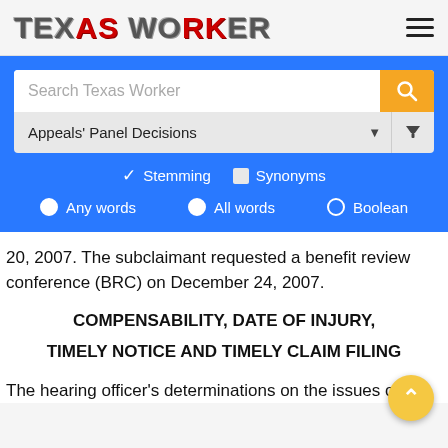[Figure (logo): Texas Worker logo text in stylized bold metallic/red font]
[Figure (screenshot): Search interface with text field 'Search Texas Worker', yellow search button, dropdown 'Appeals Panel Decisions', Stemming/Synonyms checkboxes, Any words/All words/Boolean radio buttons on blue background]
20, 2007. The subclaimant requested a benefit review conference (BRC) on December 24, 2007.
COMPENSABILITY, DATE OF INJURY,
TIMELY NOTICE AND TIMELY CLAIM FILING
The hearing officer's determinations on the issues of